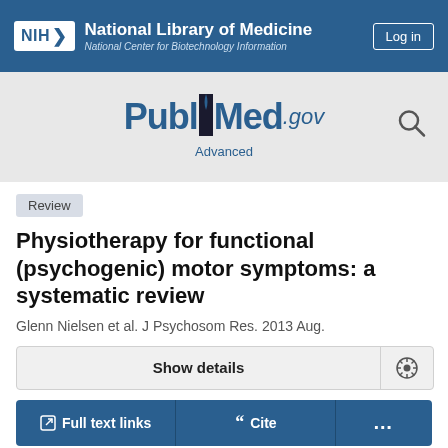[Figure (logo): NIH National Library of Medicine - National Center for Biotechnology Information header bar with Log in button]
[Figure (logo): PubMed.gov logo with search icon and Advanced link]
Review
Physiotherapy for functional (psychogenic) motor symptoms: a systematic review
Glenn Nielsen et al. J Psychosom Res. 2013 Aug.
Show details
Full text links
Cite
...